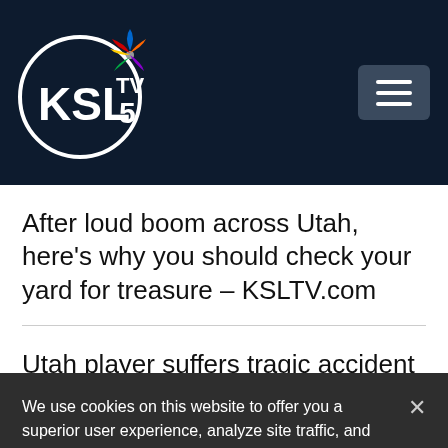[Figure (logo): KSL TV 5 NBC logo - white circle with KSL text and NBC peacock, on dark navy background, with hamburger menu button on the right]
After loud boom across Utah, here's why you should check your yard for treasure – KSLTV.com
Utah player suffers tragic accident just days before Little League World Series
We use cookies on this website to offer you a superior user experience, analyze site traffic, and personalize content and advertisements. By continuing to use our site, you consent to our use of cookies. Please visit our Privacy Policy for more information.
Accept Cookies